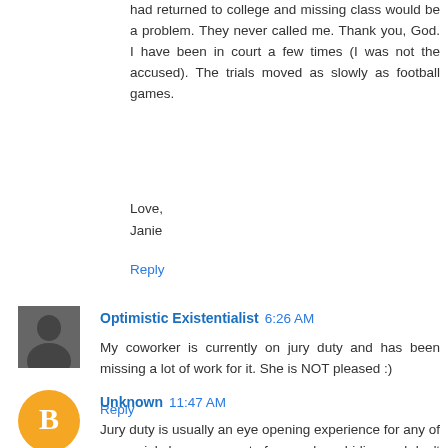had returned to college and missing class would be a problem. They never called me. Thank you, God. I have been in court a few times (I was not the accused). The trials moved as slowly as football games.
Love,
Janie
Reply
Optimistic Existentialist  6:26 AM
My coworker is currently on jury duty and has been missing a lot of work for it. She is NOT pleased :)
Reply
Unknown  11:47 AM
Jury duty is usually an eye opening experience for any of us...mainly because most of us are law abiding and don't truly comprehend the criminal mind. For that, I am thankful. When I was on Grand Jury I heard about things that altered